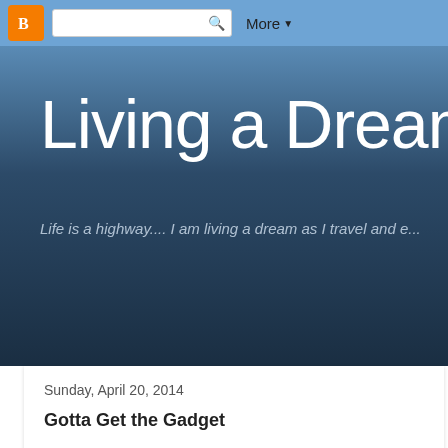Blogger navbar with logo, search box, and More menu
Living a Dream
Life is a highway.... I am living a dream as I travel and e...
Sunday, April 20, 2014
Gotta Get the Gadget
OK... maybe I am a sucker - but, then again, maybe not.. What do you t Recently I went to a cooking demonstration by Janet Sadlack (http://ww on how to use a Convection/Microwave oven. I learned a few things. Fo convection oven, and then need to microwave something in a plastic co holder under the container to keep it from melting due to the high heat thing I learned is that if you are using a 'mix' cooking setting, the microw